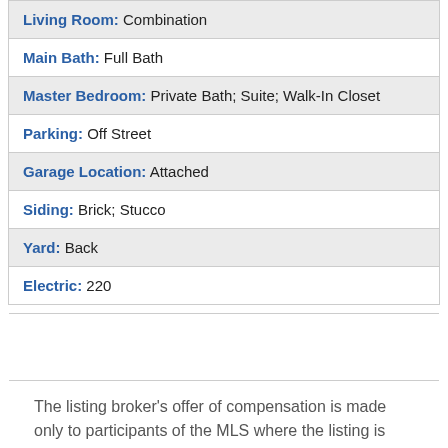| Living Room: Combination |
| Main Bath: Full Bath |
| Master Bedroom: Private Bath; Suite; Walk-In Closet |
| Parking: Off Street |
| Garage Location: Attached |
| Siding: Brick; Stucco |
| Yard: Back |
| Electric: 220 |
The listing broker's offer of compensation is made only to participants of the MLS where the listing is filed.